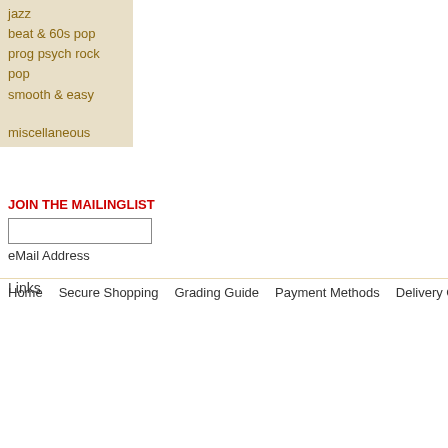jazz
beat & 60s pop
prog psych rock pop
smooth & easy
miscellaneous
JOIN THE MAILINGLIST
eMail Address
Links
Home   Secure Shopping   Grading Guide   Payment Methods   Delivery Charges   He